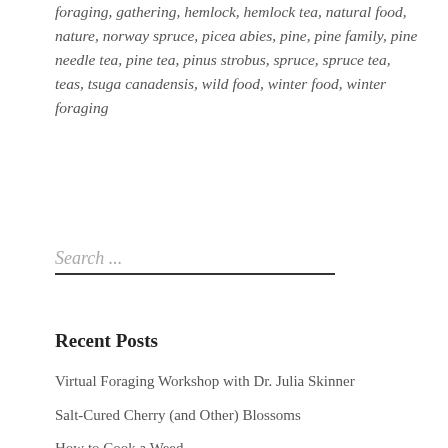foraging, gathering, hemlock, hemlock tea, natural food, nature, norway spruce, picea abies, pine, pine family, pine needle tea, pine tea, pinus strobus, spruce, spruce tea, teas, tsuga canadensis, wild food, winter food, winter foraging
Search ...
Recent Posts
Virtual Foraging Workshop with Dr. Julia Skinner
Salt-Cured Cherry (and Other) Blossoms
How to Cook a Weed
Wild Bark Teas
Wild & Conventional Herbs Preserved in Salt